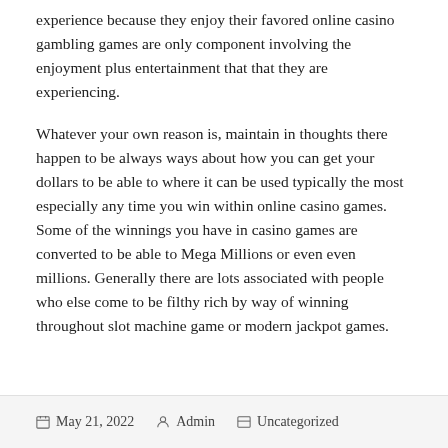experience because they enjoy their favored online casino gambling games are only component involving the enjoyment plus entertainment that that they are experiencing.
Whatever your own reason is, maintain in thoughts there happen to be always ways about how you can get your dollars to be able to where it can be used typically the most especially any time you win within online casino games. Some of the winnings you have in casino games are converted to be able to Mega Millions or even even millions. Generally there are lots associated with people who else come to be filthy rich by way of winning throughout slot machine game or modern jackpot games.
May 21, 2022   Admin   Uncategorized